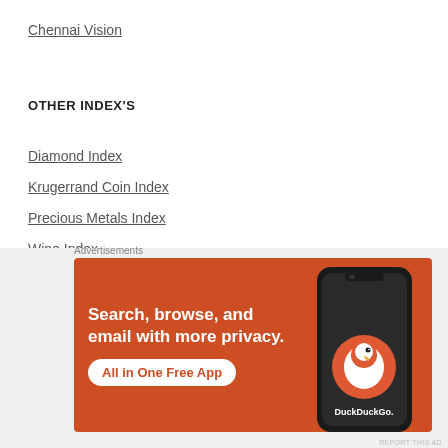Chennai Vision
OTHER INDEX'S
Diamond Index
Krugerrand Coin Index
Precious Metals Index
Wine Index
RANDOM WEBSITES
[Figure (screenshot): DuckDuckGo advertisement banner with orange background. Text: 'Search, browse, and email with more privacy. All in One Free App'. Shows a phone with DuckDuckGo logo.]